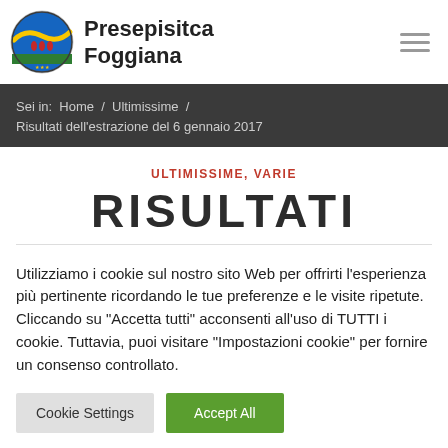Presepisitca Foggiana
Sei in:  Home  /  Ultimissime  /  Risultati dell'estrazione del 6 gennaio 2017
ULTIMISSIME, VARIE
RISULTATI
Utilizziamo i cookie sul nostro sito Web per offrirti l'esperienza più pertinente ricordando le tue preferenze e le visite ripetute. Cliccando su "Accetta tutti" acconsenti all'uso di TUTTI i cookie. Tuttavia, puoi visitare "Impostazioni cookie" per fornire un consenso controllato.
Cookie Settings | Accept All